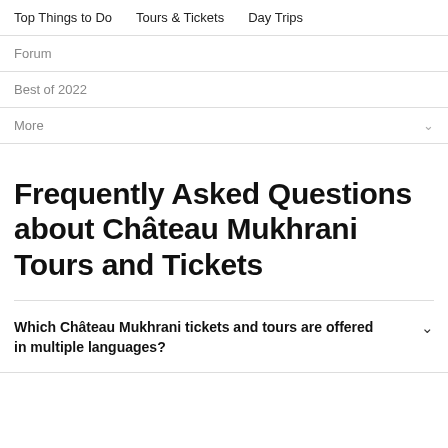Top Things to Do   Tours & Tickets   Day Trips
Forum
Best of 2022
More
Frequently Asked Questions about Château Mukhrani Tours and Tickets
Which Château Mukhrani tickets and tours are offered in multiple languages?